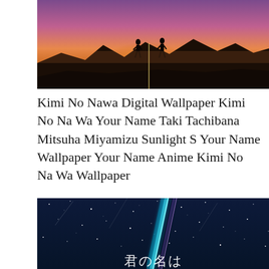[Figure (illustration): Anime scene from Kimi No Na Wa (Your Name) showing two silhouetted figures standing on a hilltop against a dramatic purple and orange sunset sky with mountain silhouettes in the background.]
Kimi No Nawa Digital Wallpaper Kimi No Na Wa Your Name Taki Tachibana Mitsuha Miyamizu Sunlight S Your Name Wallpaper Your Name Anime Kimi No Na Wa Wallpaper
[Figure (illustration): Anime scene from Kimi No Na Wa (Your Name) showing a vibrant cyan/teal comet streak across a deep dark blue starry night sky with Japanese text '君の名は' (Your Name) visible at the bottom.]